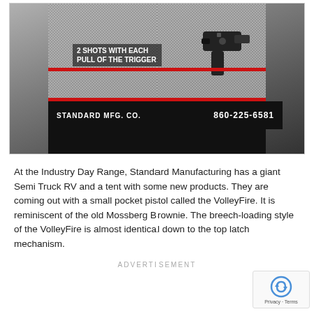[Figure (photo): Photo of a Standard Manufacturing Co. product display card for a small pocket pistol (VolleyFire). The display card is black with a speckled gray background showing the pistol silhouette. Text reads '2 SHOTS WITH EACH PULL OF THE TRIGGER', 'STANDARD MFG. CO.' and phone number '860-225-6581'. A red stripe separates sections.]
At the Industry Day Range, Standard Manufacturing has a giant Semi Truck RV and a tent with some new products. They are coming out with a small pocket pistol called the VolleyFire. It is reminiscent of the old Mossberg Brownie. The breech-loading style of the VolleyFire is almost identical down to the top latch mechanism.
ADVERTISEMENT